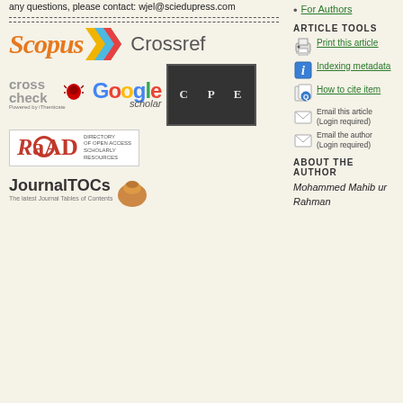any questions, please contact: wjel@sciedupress.com
[Figure (logo): Scopus logo with orange italic text and colored arrow]
[Figure (logo): Crossref logo in gray text]
[Figure (logo): CrossCheck powered by iThenticate logo]
[Figure (logo): Google Scholar logo]
[Figure (logo): COPE logo - dark box with letter spacing]
[Figure (logo): ROAD - Directory of Open Access Scholarly Resources logo]
[Figure (logo): JournalTOCs logo]
For Authors
ARTICLE TOOLS
Print this article
Indexing metadata
How to cite item
Email this article (Login required)
Email the author (Login required)
ABOUT THE AUTHOR
Mohammed Mahib ur Rahman